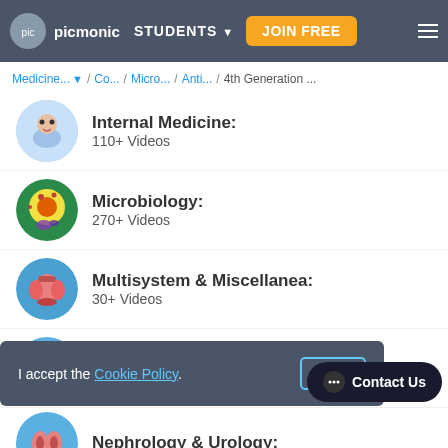picmonic | STUDENTS | JOIN FREE
Medicine... / Co... / Micro... / Anti... / 4th Generation ...
Internal Medicine: 110+ Videos
Microbiology: 270+ Videos
Multisystem & Miscellanea: 30+ Videos
Musculoskeletal (Orthopedics):
Nephrology & Urology:
I accept the Cookie Policy. OK
Contact Us